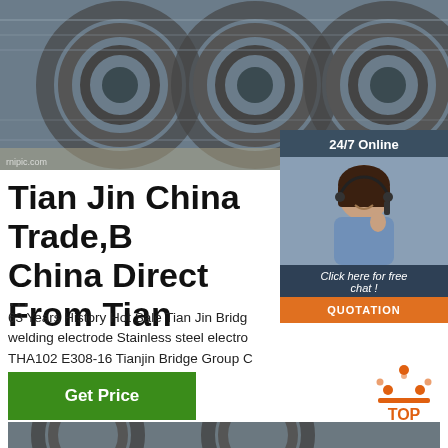[Figure (photo): Steel wire rod coils stacked outdoors, gray metallic color]
[Figure (photo): Customer service representative with headset, 24/7 Online chat widget overlay with dark blue background, orange QUOTATION button]
Tian Jin China Trade,B China Direct From Tian
...
63 Years History Hot Sale Tian Jin Bridge welding electrode Stainless steel electro THA102 E308-16 Tianjin Bridge Group C US $2.80-$3.20 Kilogram
[Figure (other): Get Price green button]
[Figure (logo): TOP logo with orange triangle/arrow icon]
[Figure (photo): Steel wire coils, bottom partial image]